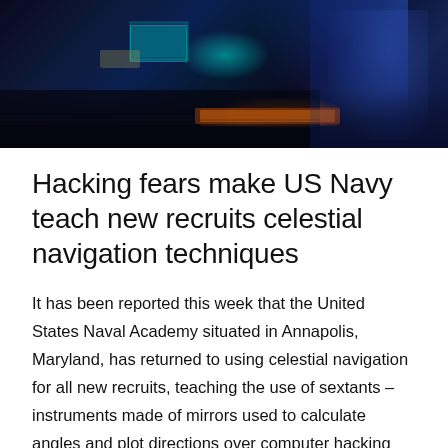[Figure (photo): Dark blue-tinted photo of a naval computer workstation with glowing screens, keyboard with orange backlight, and a person visible on the right side in blue-toned lighting.]
Hacking fears make US Navy teach new recruits celestial navigation techniques
It has been reported this week that the United States Naval Academy situated in Annapolis, Maryland, has returned to using celestial navigation for all new recruits, teaching the use of sextants – instruments made of mirrors used to calculate angles and plot directions over computer hacking concerns.